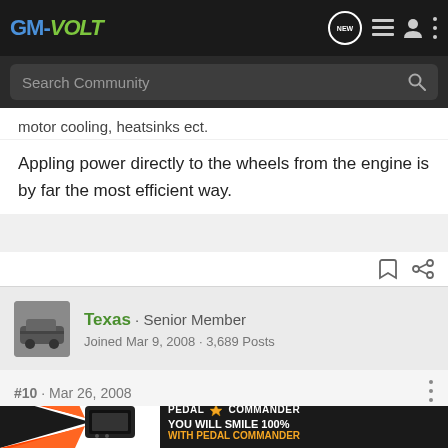GM-VOLT
motor cooling, heatsinks ect.
Appling power directly to the wheels from the engine is by far the most efficient way.
Texas · Senior Member
Joined Mar 9, 2008 · 3,689 Posts
#10 · Mar 26, 2008
e3466... every c... plant is... ectrical
[Figure (screenshot): Pedal Commander advertisement banner: orange/black graphic with product device, PEDAL COMMANDER logo with star, text YOU WILL SMILE 100% WITH PEDAL COMMANDER in orange]